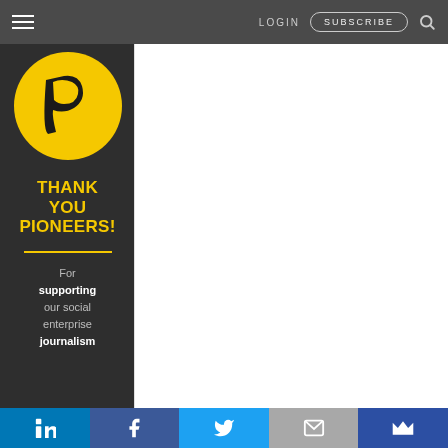LOGIN  SUBSCRIBE
[Figure (logo): Yellow circle with dark stylized P letter logo for Pioneers publication]
THANK YOU PIONEERS!
For supporting our social enterprise journalism
[Figure (infographic): Social media icon bar at bottom: LinkedIn, Facebook, Twitter, Email, Newsletter]